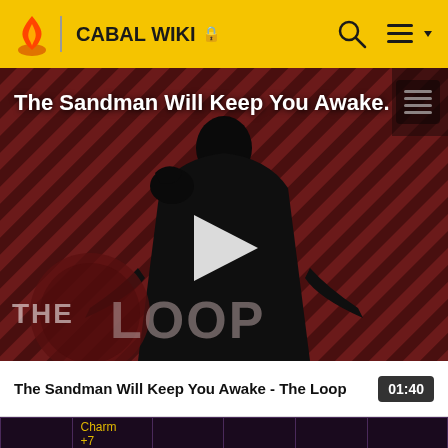CABAL WIKI
[Figure (screenshot): Video thumbnail showing 'The Sandman Will Keep You Awake - The Loop' with a dark figure/person in a black cape against a red diagonal striped background with THE LOOP branding and a play button overlay]
The Sandman Will Keep You Awake - The Loop  01:40
|  | Charm
+7 |  |  |  |  |